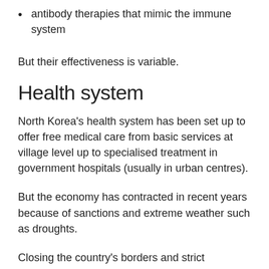antibody therapies that mimic the immune system
But their effectiveness is variable.
Health system
North Korea's health system has been set up to offer free medical care from basic services at village level up to specialised treatment in government hospitals (usually in urban centres).
But the economy has contracted in recent years because of sanctions and extreme weather such as droughts.
Closing the country's borders and strict lockdown measures will also have had a damaging impact.